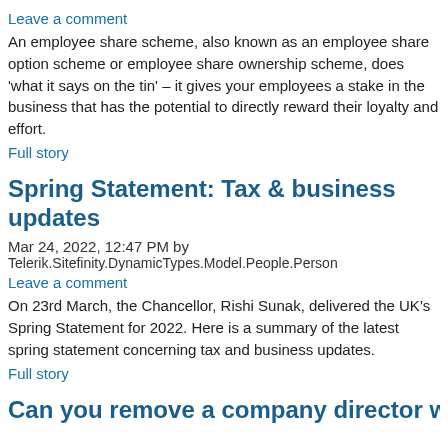Leave a comment
An employee share scheme, also known as an employee share option scheme or employee share ownership scheme, does ‘what it says on the tin’ – it gives your employees a stake in the business that has the potential to directly reward their loyalty and effort.
Full story
Spring Statement: Tax & business updates
Mar 24, 2022, 12:47 PM by
Telerik.Sitefinity.DynamicTypes.Model.People.Person
Leave a comment
On 23rd March, the Chancellor, Rishi Sunak, delivered the UK’s Spring Statement for 2022. Here is a summary of the latest spring statement concerning tax and business updates.
Full story
Can you remove a company director without